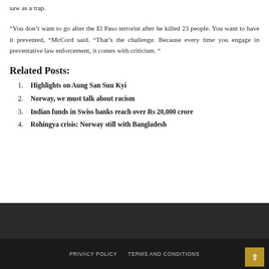saw as a trap.
“You don’t want to go after the El Paso terrorist after he killed 23 people. You want to have it prevented, “McCord said. “That’s the challenge. Because every time you engage in preventative law enforcement, it comes with criticism. “
Related Posts:
Highlights on Aung San Suu Kyi
Norway, we must talk about racism
Indian funds in Swiss banks reach over Rs 20,000 crore
Rohingya crisis: Norway still with Bangladesh
PRIVACY POLICY   TERMS AND CONDITIONS